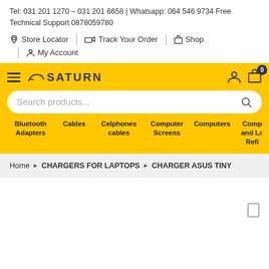Tel: 031 201 1270 – 031 201 6658 | Whatsapp: 064 546 9734 Free Technical Support 0878059780
Store Locator | Track Your Order | Shop
My Account
[Figure (screenshot): Saturn Tech store website header with yellow navigation bar, Saturn logo, search box, and category menu including Bluetooth Adapters, Cables, Celphones cables, Computer Screens, Computers, Comp and La Refi]
Home > CHARGERS FOR LAPTOPS > CHARGER ASUS TINY